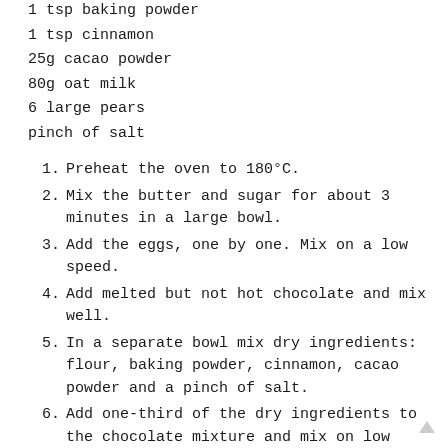1 tsp baking powder
1 tsp cinnamon
25g cacao powder
80g oat milk
6 large pears
pinch of salt
1. Preheat the oven to 180°C.
2. Mix the butter and sugar for about 3 minutes in a large bowl.
3. Add the eggs, one by one. Mix on a low speed.
4. Add melted but not hot chocolate and mix well.
5. In a separate bowl mix dry ingredients: flour, baking powder, cinnamon, cacao powder and a pinch of salt.
6. Add one-third of the dry ingredients to the chocolate mixture and mix on low speed until combined. Repeat the process.
7. Pour the milk and mix.
8. Line the springform cake tin (24cm) with a baking paper.
Pour in the chocolate mixture...